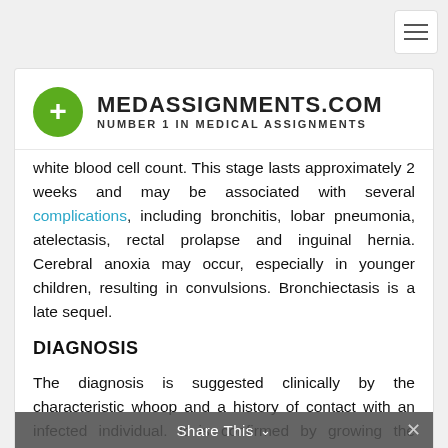[Figure (logo): MedAssignments.com logo with green circle containing white plus sign, bold text MEDASSIGNMENTS.COM, subtitle NUMBER 1 IN MEDICAL ASSIGNMENTS]
white blood cell count. This stage lasts approximately 2 weeks and may be associated with several complications, including bronchitis, lobar pneumonia, atelectasis, rectal prolapse and inguinal hernia. Cerebral anoxia may occur, especially in younger children, resulting in convulsions. Bronchiectasis is a late sequel.
DIAGNOSIS
The diagnosis is suggested clinically by the characteristic whoop and a history of contact with an infected individual. It is confirmed by growing the organism in culture. Cultures of swabs of nasopharyngeal secretions result in a higher positive